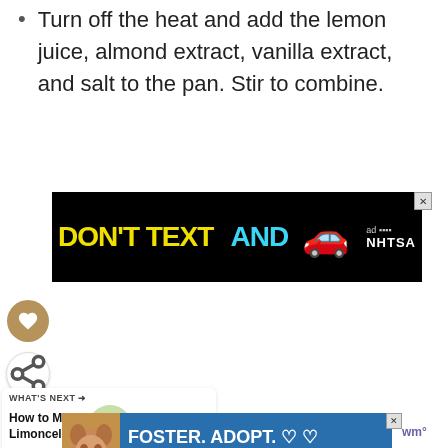Turn off the heat and add the lemon juice, almond extract, vanilla extract, and salt to the pan. Stir to combine.
[Figure (other): Advertisement banner: 'DON'T TEXT AND [car emoji]' with NHTSA logo on black background, with close button]
[Figure (other): Sidebar heart/favorite button (brown circle) and share button (white circle)]
[Figure (other): What's Next panel: 'How to Make Limoncello...' with lemon image thumbnail]
[Figure (other): Advertisement banner: 'FOSTER. ADOPT. RESCUE. ADVOCATE.' with dog image on blue background]